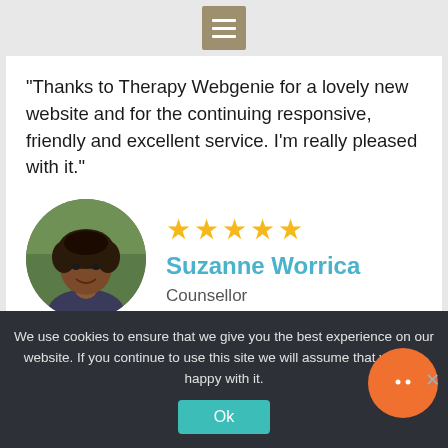[Figure (other): Hamburger menu icon button with three white horizontal lines on a tan/khaki background square]
"Thanks to Therapy Webgenie for a lovely new website and for the continuing responsive, friendly and excellent service. I'm really pleased with it."
[Figure (photo): Circular portrait photo of Suzanne Worrica, a woman with curly dark hair, smiling outdoors in a park setting]
★★★★★
Suzanne Worrica
Counsellor
We use cookies to ensure that we give you the best experience on our website. If you continue to use this site we will assume that you are happy with it.
Ok